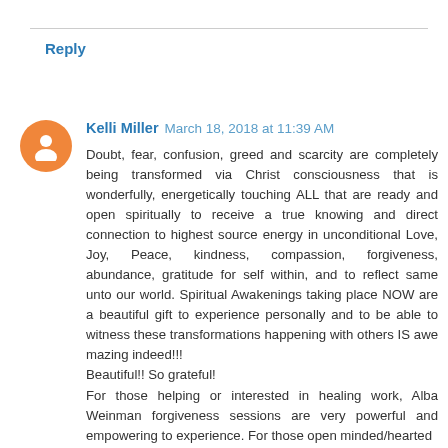Reply
Kelli Miller March 18, 2018 at 11:39 AM
Doubt, fear, confusion, greed and scarcity are completely being transformed via Christ consciousness that is wonderfully, energetically touching ALL that are ready and open spiritually to receive a true knowing and direct connection to highest source energy in unconditional Love, Joy, Peace, kindness, compassion, forgiveness, abundance, gratitude for self within, and to reflect same unto our world. Spiritual Awakenings taking place NOW are a beautiful gift to experience personally and to be able to witness these transformations happening with others IS awe mazing indeed!!!
Beautiful!! So grateful!
For those helping or interested in healing work, Alba Weinman forgiveness sessions are very powerful and empowering to experience. For those open minded/hearted
Check this out: